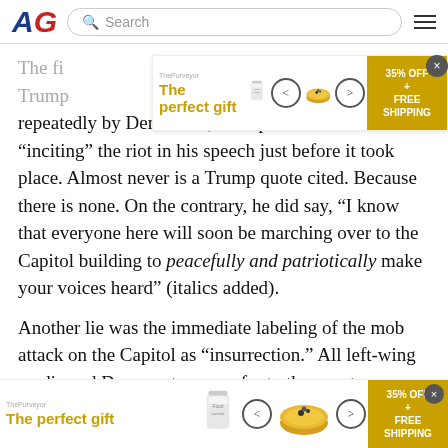AG (American Greatness) navigation bar with search
[Figure (infographic): Advertisement banner: 'The perfect gift' with food bowl images, navigation arrows, and '35% OFF + FREE SHIPPING' offer badge]
The first... repeatedly by Democrats, Trump is blamed for “inciting” the riot in his speech just before it took place. Almost never is a Trump quote cited. Because there is none. On the contrary, he did say, “I know that everyone here will soon be marching over to the Capitol building to peacefully and patriotically make your voices heard” (italics added).
Another lie was the immediate labeling of the mob attack on the Capitol as “insurrection.” All left-wing media and Democrats now refer to the event as an “insurrection,” a term defined by almost every dictionary as “an act or
[Figure (infographic): Advertisement banner bottom: 'The perfect gift' with food bowl images, navigation arrows, and '35% OFF + FREE SHIPPING' offer badge]